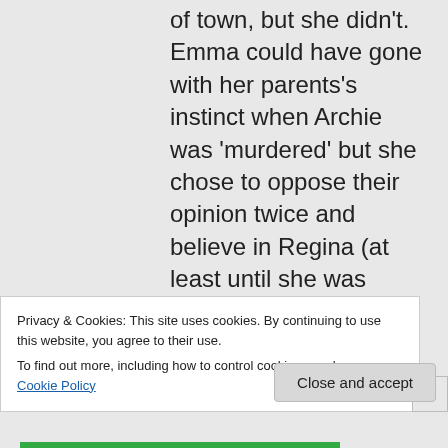of town, but she didn't. Emma could have gone with her parents's instinct when Archie was 'murdered' but she chose to oppose their opinion twice and believe in Regina (at least until she was shown 'indisputable'
Privacy & Cookies: This site uses cookies. By continuing to use this website, you agree to their use.
To find out more, including how to control cookies, see here: Cookie Policy